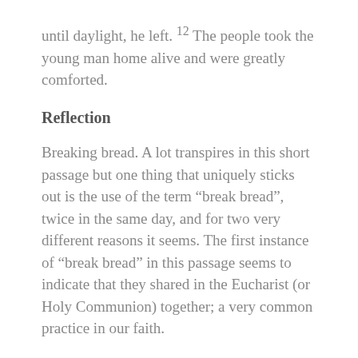until daylight, he left. 12 The people took the young man home alive and were greatly comforted.
Reflection
Breaking bread. A lot transpires in this short passage but one thing that uniquely sticks out is the use of the term “break bread”, twice in the same day, and for two very different reasons it seems. The first instance of “break bread” in this passage seems to indicate that they shared in the Eucharist (or Holy Communion) together; a very common practice in our faith.
What is interesting, however, is that later on